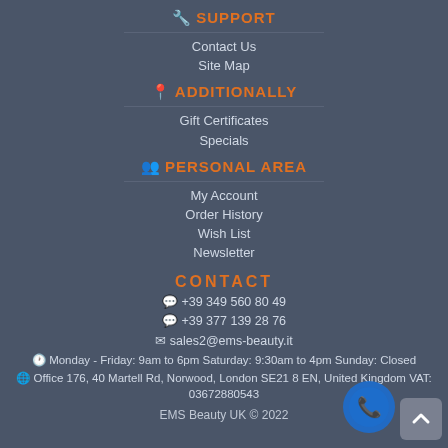🔧 SUPPORT
Contact Us
Site Map
📍 ADDITIONALLY
Gift Certificates
Specials
👥 PERSONAL AREA
My Account
Order History
Wish List
Newsletter
CONTACT
💬 +39 349 560 80 49
💬 +39 377 139 28 76
✉ sales2@ems-beauty.it
🕐 Monday - Friday: 9am to 6pm Saturday: 9:30am to 4pm Sunday: Closed
🌐 Office 176, 40 Martell Rd, Norwood, London SE21 8 EN, United Kingdom VAT: 03672880543
EMS Beauty UK © 2022